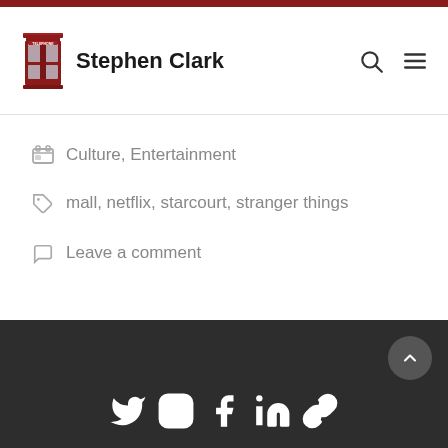Stephen Clark
Culture, Entertainment
mall, netflix, starcourt, stranger things
Leave a comment
Social icons: Twitter, Instagram, Facebook, LinkedIn, Link